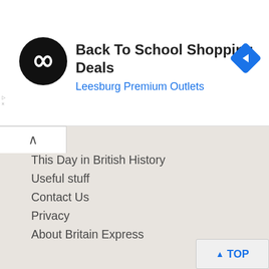[Figure (logo): Advertisement banner with circular black logo containing white infinity/loop symbol, text 'Back To School Shopping Deals' and 'Leesburg Premium Outlets' in blue, with a blue diamond navigation icon on the right]
Heritage Traveller Blog
British History Quiz
Historic Attraction Quiz
Monarch Mayhem
This Day in British History
Useful stuff
Contact Us
Privacy
About Britain Express